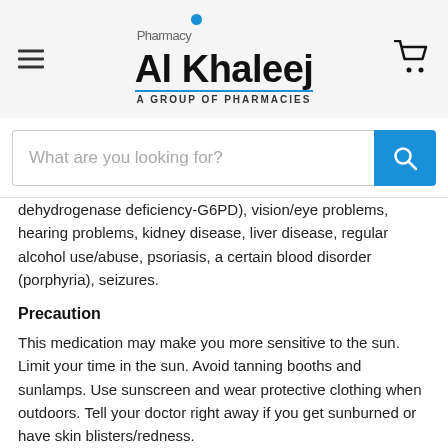Al Khaleej Pharmacy — A GROUP OF PHARMACIES
dehydrogenase deficiency-G6PD), vision/eye problems, hearing problems, kidney disease, liver disease, regular alcohol use/abuse, psoriasis, a certain blood disorder (porphyria), seizures.
Precaution
This medication may make you more sensitive to the sun. Limit your time in the sun. Avoid tanning booths and sunlamps. Use sunscreen and wear protective clothing when outdoors. Tell your doctor right away if you get sunburned or have skin blisters/redness.
Precaution
This drug passes into breast milk and the effect on a nursing infant is unknown. Discuss the risks and benefits with your doctor before breast-feeding.